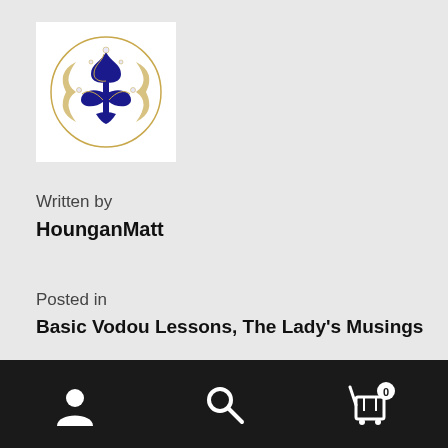[Figure (logo): Fleur-de-lis logo in blue and gold on white background]
Written by
HounganMatt
Posted in
Basic Vodou Lessons, The Lady's Musings
Comments
Leave a comment
It can very easily be said, with full sincerity, that the
Navigation bar with user, search, and cart (0) icons